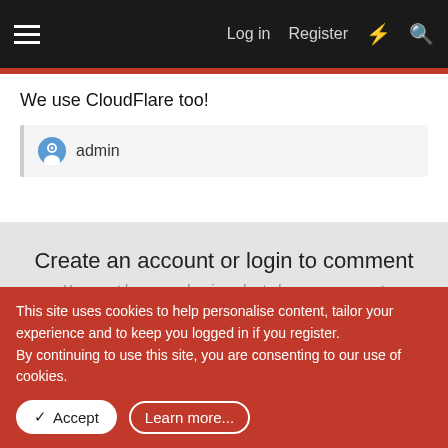Log in   Register
We use CloudFlare too!
admin
Create an account or login to comment
You must be a member in order to leave a comment
Create account
Create an account on our community. It's easy!
This site uses cookies to help personalise content, tailor your experience and to keep you logged in if you register.
By continuing to use this site, you are consenting to our use of cookies.
Accept   Learn more...